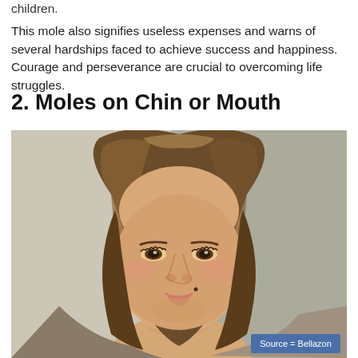children.
This mole also signifies useless expenses and warns of several hardships faced to achieve success and happiness. Courage and perseverance are crucial to overcoming life struggles.
2. Moles on Chin or Mouth
[Figure (photo): Portrait photo of a woman with brown wavy hair, light skin, wearing subtle makeup, smiling slightly. Source watermark reads 'Source = Bellazon'.]
Source = Bellazon